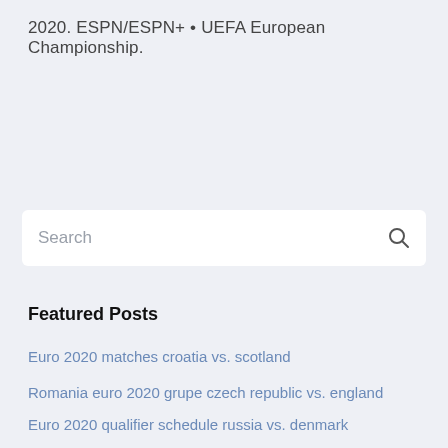2020. ESPN/ESPN+ • UEFA European Championship.
[Figure (screenshot): Search input box with placeholder text 'Search' and a magnifying glass icon on the right]
Featured Posts
Euro 2020 matches croatia vs. scotland
Romania euro 2020 grupe czech republic vs. england
Euro 2020 qualifier schedule russia vs. denmark